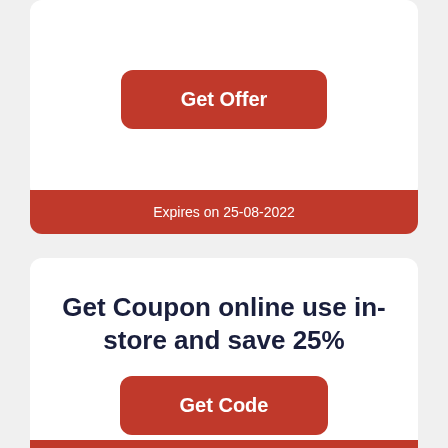Get Offer
Expires on 25-08-2022
Get Coupon online use in-store and save 25%
Get Code
Expires on 30-08-2022